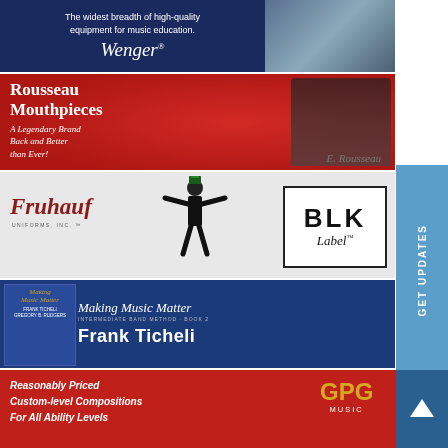[Figure (advertisement): Wenger music education equipment banner with dark navy background, white text and script logo, photo of musician on right]
[Figure (advertisement): Rousseau Mouthpieces red banner with white text: 'Rousseau Mouthpieces A Legendary Brand Back and Better than Ever!' with saxophone player photo]
[Figure (advertisement): Fruhauf Uniforms and BLK Label banner on light grey background with marching band performer in center]
[Figure (advertisement): Making Music Matter Intermediate Band Method Book 2 by Frank Ticheli, blue banner with script title and bold author name]
[Figure (advertisement): GPG Music red banner: 'Reasonably Priced Custom-level Compositions For All Ability Levels' with GPG MUSIC gold logo]
GET UPDATES
[Figure (other): Blue scroll-up button with up arrow]